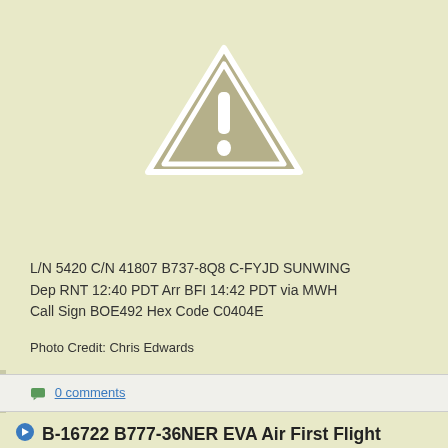[Figure (other): Warning triangle icon with exclamation mark indicating a missing or unavailable image placeholder]
L/N 5420 C/N 41807 B737-8Q8 C-FYJD SUNWING
Dep RNT 12:40 PDT Arr BFI 14:42 PDT via MWH
Call Sign BOE492 Hex Code C0404E
Photo Credit: Chris Edwards
0 comments
B-16722 B777-36NER EVA Air First Flight